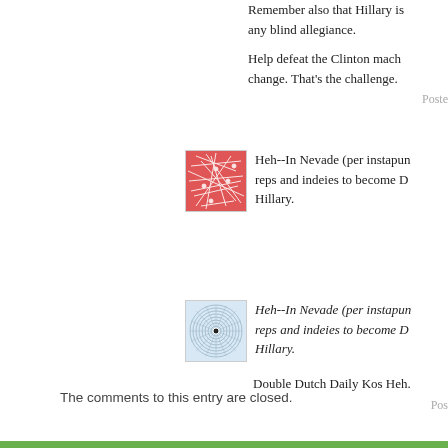Remember also that Hillary is any blind allegiance.
Help defeat the Clinton mach change. That's the challenge.
Poste
[Figure (illustration): Red abstract network/web pattern avatar image]
Heh--In Nevade (per instapun reps and indeies to become D Hillary.
[Figure (illustration): Blue/grey circular spiral pattern avatar image]
Heh--In Nevade (per instapun reps and indeies to become D Hillary.
Double Dutch Daily Kos Heh.
Pos
The comments to this entry are closed.